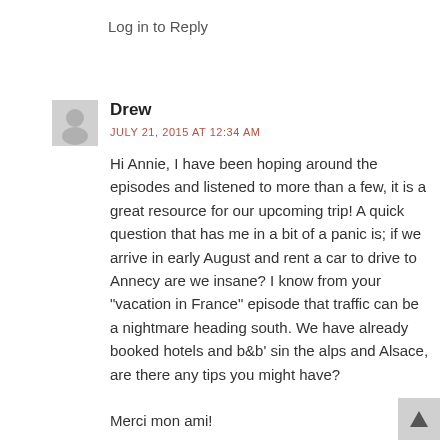Log in to Reply
Drew
JULY 21, 2015 AT 12:34 AM
Hi Annie, I have been hoping around the episodes and listened to more than a few, it is a great resource for our upcoming trip! A quick question that has me in a bit of a panic is; if we arrive in early August and rent a car to drive to Annecy are we insane? I know from your "vacation in France" episode that traffic can be a nightmare heading south. We have already booked hotels and b&b' sin the alps and Alsace, are there any tips you might have?

Merci mon ami!